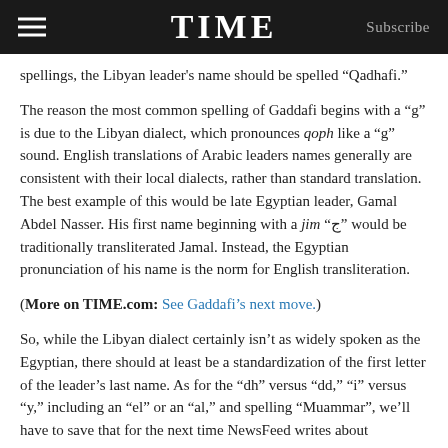TIME  Subscribe
spellings, the Libyan leader's name should be spelled “Qadhafi.”
The reason the most common spelling of Gaddafi begins with a “g” is due to the Libyan dialect, which pronounces qoph like a “g” sound. English translations of Arabic leaders names generally are consistent with their local dialects, rather than standard translation. The best example of this would be late Egyptian leader, Gamal Abdel Nasser. His first name beginning with a jim “ج” would be traditionally transliterated Jamal. Instead, the Egyptian pronunciation of his name is the norm for English transliteration.
(More on TIME.com: See Gaddafi’s next move.)
So, while the Libyan dialect certainly isn’t as widely spoken as the Egyptian, there should at least be a standardization of the first letter of the leader’s last name. As for the “dh” versus “dd,” “i” versus “y,” including an “el” or an “al,” and spelling “Muammar”, we’ll have to save that for the next time NewsFeed writes about linguistics.